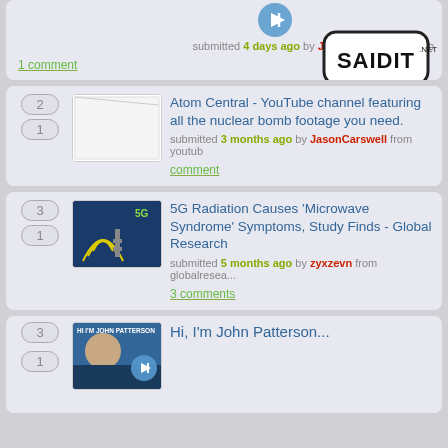[Figure (screenshot): Partial top card from saidit.net showing submitted 4 days ago by JasonCarswe... with 1 comment link and Saidit.net logo overlay]
Atom Central - YouTube channel featuring all the nuclear bomb footage you need. submitted 3 months ago by JasonCarswell from youtube. comment
5G Radiation Causes ‘Microwave Syndrome’ Symptoms, Study Finds - Global Research. submitted 5 months ago by zyxzevn from globalresearch. 3 comments
Hi, I'm John Patterson... submitted 6 months ago (partial)